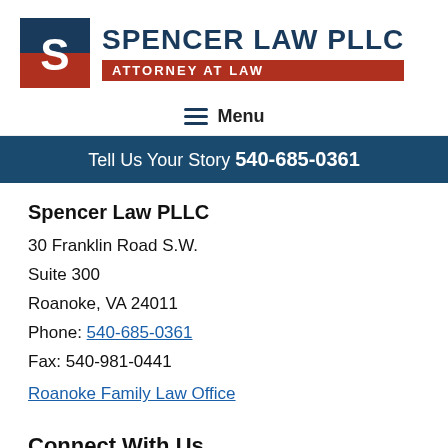[Figure (logo): Spencer Law PLLC logo with blue S icon and red Attorney At Law bar]
Menu
Tell Us Your Story 540-685-0361
Spencer Law PLLC
30 Franklin Road S.W.
Suite 300
Roanoke, VA 24011
Phone: 540-685-0361
Fax: 540-981-0441
Roanoke Family Law Office
Connect With Us